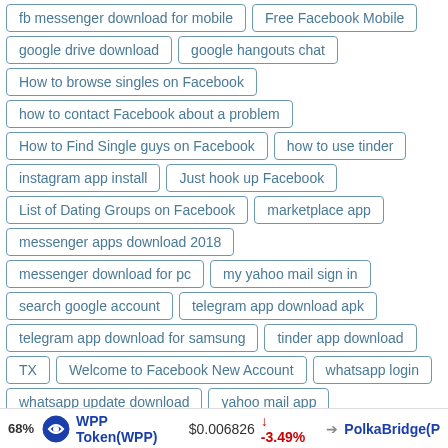fb messenger download for mobile
Free Facebook Mobile
google drive download
google hangouts chat
How to browse singles on Facebook
how to contact Facebook about a problem
How to Find Single guys on Facebook
how to use tinder
instagram app install
Just hook up Facebook
List of Dating Groups on Facebook
marketplace app
messenger apps download 2018
messenger download for pc
my yahoo mail sign in
search google account
telegram app download apk
telegram app download for samsung
tinder app download
TX
Welcome to Facebook New Account
whatsapp login
whatsapp update download
yahoo mail app
yahoo mail sign up
68%  WPP Token(WPP)  $0.006826  ↓ -3.49%  → PolkaBridge(P